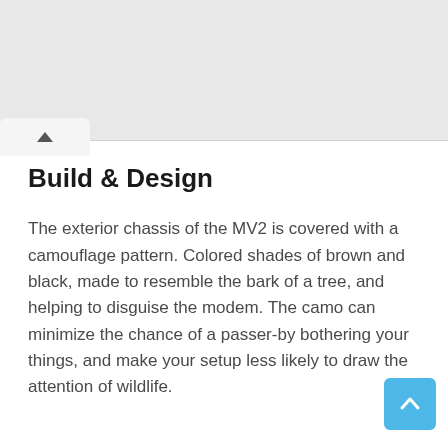Build & Design
The exterior chassis of the MV2 is covered with a camouflage pattern. Colored shades of brown and black, made to resemble the bark of a tree, and helping to disguise the modem. The camo can minimize the chance of a passer-by bothering your things, and make your setup less likely to draw the attention of wildlife.